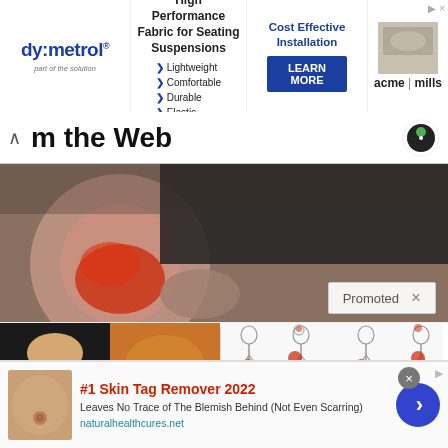[Figure (screenshot): dy:metrol banner ad - High Performance Fabric for Seating Suspensions, with lightweight/comfortable/durable/elastic bullet points, Cost Effective Installation with LEARN MORE button, and acme|mills logo]
m the Web
[Figure (photo): Close-up photo of a person's hip/gluteal area with red pain highlight overlay on a pink circle background]
Promoted X
[Figure (photo): Fitness woman with abs and spice on a spoon - ad image for 'A Teaspoon On An Empty Stomach Burns Fat Like Crazy!']
A Teaspoon On An Empty Stomach Burns Fat Like Crazy!
[Figure (illustration): Medical diagram showing body silhouettes with red pain areas highlighted on hip and leg regions]
Real Reason Why Pain-
[Figure (screenshot): Bottom ad: #1 Skin Tag Remover 2022 - Leaves No Trace of The Blemish Behind (Not Even Scarring) - naturalhealthcures.net]